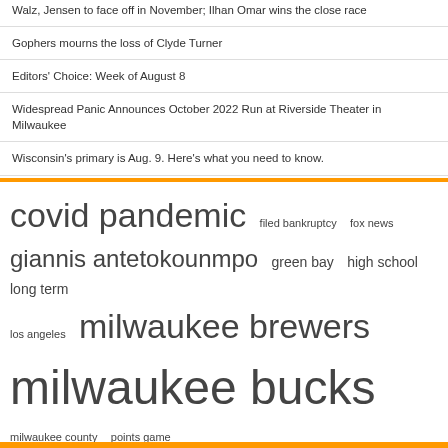Walz, Jensen to face off in November; Ilhan Omar wins the close race
Gophers mourns the loss of Clyde Turner
Editors' Choice: Week of August 8
Widespread Panic Announces October 2022 Run at Riverside Theater in Milwaukee
Wisconsin's primary is Aug. 9. Here's what you need to know.
covid pandemic  filed bankruptcy  fox news  giannis antetokounmpo  green bay  high school  long term  los angeles  milwaukee brewers  milwaukee bucks  milwaukee county  points game  points rebounds  rights reserved  united states